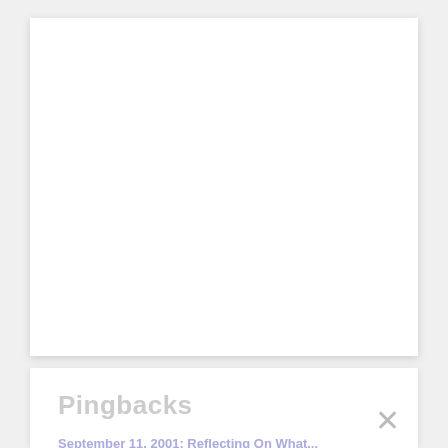Pingbacks
September 11, 2001: Reflecting On What...